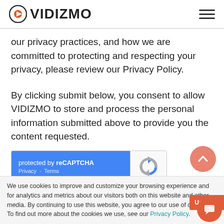[Figure (logo): VIDIZMO logo with circular orange icon on left and text VIDIZMO, plus hamburger menu icon on right]
our privacy practices, and how we are committed to protecting and respecting your privacy, please review our Privacy Policy.
By clicking submit below, you consent to allow VIDIZMO to store and process the personal information submitted above to provide you the content requested.
[Figure (other): reCAPTCHA widget: blue left panel with 'protected by reCAPTCHA' and Privacy · Terms links, white right panel with reCAPTCHA logo]
We use cookies to improve and customize your browsing experience and for analytics and metrics about our visitors both on this website and other media. By continuing to use this website, you agree to our use of cookies. To find out more about the cookies we use, see our Privacy Policy.